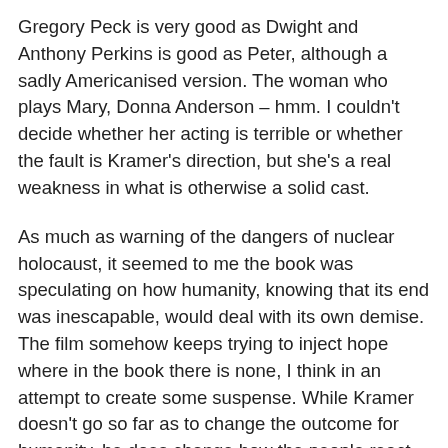Gregory Peck is very good as Dwight and Anthony Perkins is good as Peter, although a sadly Americanised version. The woman who plays Mary, Donna Anderson – hmm. I couldn't decide whether her acting is terrible or whether the fault is Kramer's direction, but she's a real weakness in what is otherwise a solid cast.
As much as warning of the dangers of nuclear holocaust, it seemed to me the book was speculating on how humanity, knowing that its end was inescapable, would deal with its own demise. The film somehow keeps trying to inject hope where in the book there is none, I think in an attempt to create some suspense. While Kramer doesn't go so far as to change the outcome for humanity, he does change how the people react to it, thus rather missing Shute's point. I'm now heading into pretty